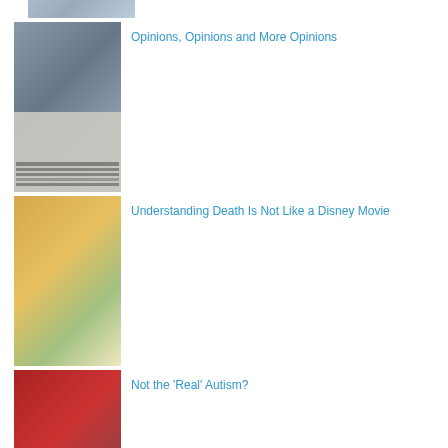[Figure (photo): Partial thumbnail image at top of page, cropped]
Opinions, Opinions and More Opinions
Understanding Death Is Not Like a Disney Movie
Not the 'Real' Autism?
Book Store Blues